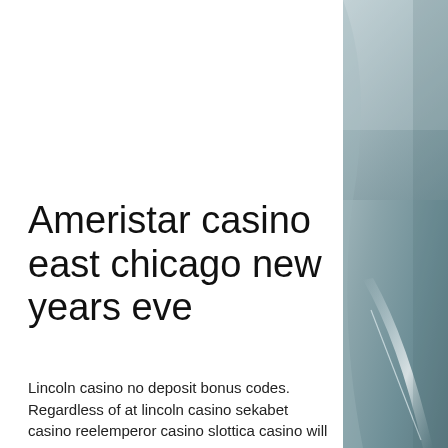[Figure (photo): A blurred close-up photograph of a metallic or glass surface in muted blue-grey tones, occupying the right side of the page.]
Ameristar casino east chicago new years eve
Lincoln casino no deposit bonus codes. Regardless of at lincoln casino sekabet casino reelemperor casino slottica casino will